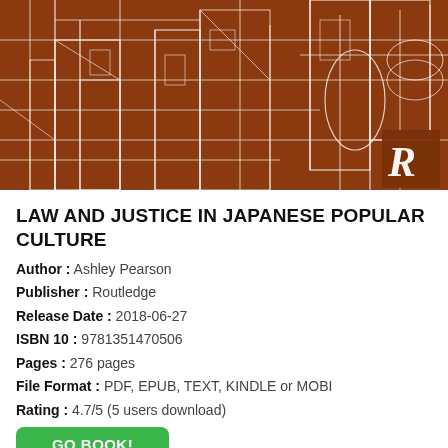[Figure (illustration): Book cover of 'Law and Justice in Japanese Popular Culture' with abstract city/architectural line art in white on brown/orange background, Routledge logo in bottom right corner.]
LAW AND JUSTICE IN JAPANESE POPULAR CULTURE
Author : Ashley Pearson
Publisher : Routledge
Release Date : 2018-06-27
ISBN 10 : 9781351470506
Pages : 276 pages
File Format : PDF, EPUB, TEXT, KINDLE or MOBI
Rating : 4.7/5 (5 users download)